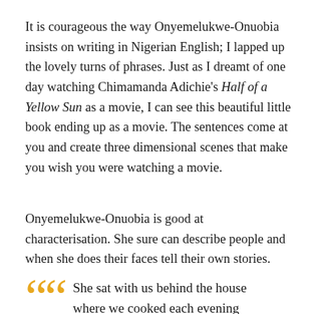It is courageous the way Onyemelukwe-Onuobia insists on writing in Nigerian English; I lapped up the lovely turns of phrases. Just as I dreamt of one day watching Chimamanda Adichie's Half of a Yellow Sun as a movie, I can see this beautiful little book ending up as a movie. The sentences come at you and create three dimensional scenes that make you wish you were watching a movie.
Onyemelukwe-Onuobia is good at characterisation. She sure can describe people and when she does their faces tell their own stories.
She sat with us behind the house where we cooked each evening